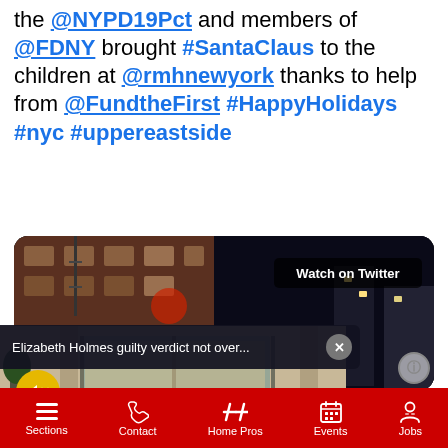the @NYPD19Pct and members of @FDNY brought #SantaClaus to the children at @rmhnewyork thanks to help from @FundtheFirst #HappyHolidays #nyc #uppereastside
[Figure (screenshot): Twitter/X embedded video thumbnail showing a nighttime street scene. Overlay popup: 'Elizabeth Holmes guilty verdict not over...' with close button. Yellow mute button visible. 'Watch on Twitter' badge in top right. Info button bottom right.]
Sections  Contact  Home Pros  Events  Jobs